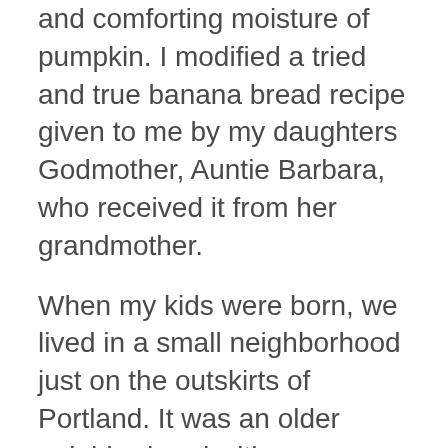and comforting moisture of pumpkin. I modified a tried and true banana bread recipe given to me by my daughters Godmother, Auntie Barbara, who received it from her grandmother.
When my kids were born, we lived in a small neighborhood just on the outskirts of Portland. It was an older neighborhood with a wonderful mixture of small, entry level sized homes as well as some a bit larger and more established. We happened to one of the first